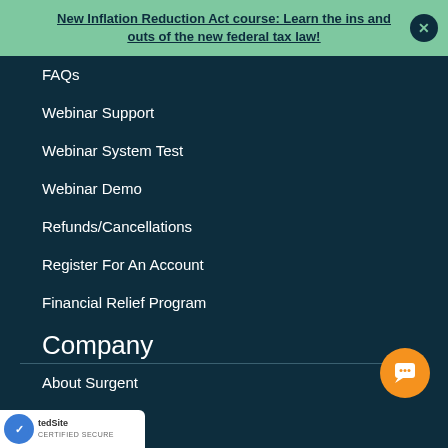New Inflation Reduction Act course: Learn the ins and outs of the new federal tax law!
FAQs
Webinar Support
Webinar System Test
Webinar Demo
Refunds/Cancellations
Register For An Account
Financial Relief Program
Company
About Surgent
Instructors
Company Blog
Accreditations